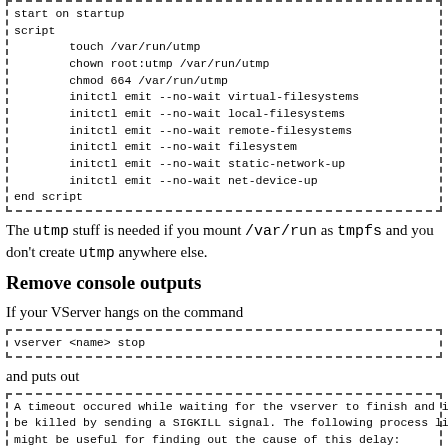[Figure (other): Code block showing upstart script: start on startup, script, touch /var/run/utmp, chown root:utmp /var/run/utmp, chmod 664 /var/run/utmp, initctl emit --no-wait virtual-filesystems, initctl emit --no-wait local-filesystems, initctl emit --no-wait remote-filesystems, initctl emit --no-wait filesystem, initctl emit --no-wait static-network-up, initctl emit --no-wait net-device-up, end script]
The utmp stuff is needed if you mount /var/run as tmpfs and you don't create utmp anywhere else.
Remove console outputs
If your VServer hangs on the command
[Figure (other): Code block showing: vserver <name> stop]
and puts out
[Figure (other): Code block showing: A timeout occured while waiting for the vserver to finish and it will be killed by sending a SIGKILL signal. The following process list might be useful for finding out the cause of this delay:]